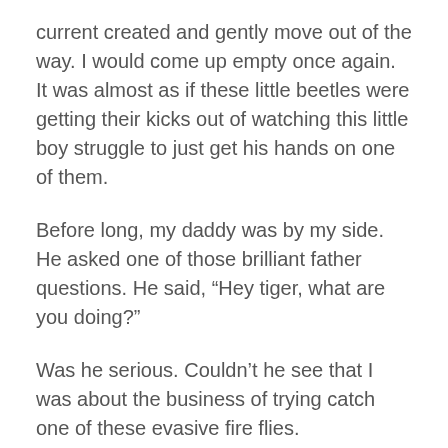current created and gently move out of the way.  I would come up empty once again. It was almost as if these little beetles were getting their kicks out of watching this little boy struggle to just get his hands on one of them.
Before long, my daddy was by my side. He asked one of those brilliant father questions. He said, “Hey tiger, what are you doing?”
Was he serious. Couldn’t he see that I was about the business of trying catch one of these evasive fire flies.
As I leapt in another vain attempt to catch one as it gently flew above my head, I said with a grunt, “I’m